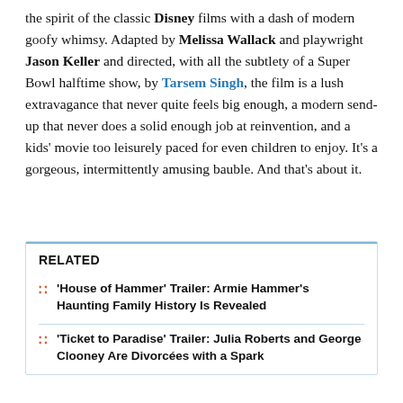the spirit of the classic Disney films with a dash of modern goofy whimsy. Adapted by Melissa Wallack and playwright Jason Keller and directed, with all the subtlety of a Super Bowl halftime show, by Tarsem Singh, the film is a lush extravagance that never quite feels big enough, a modern send-up that never does a solid enough job at reinvention, and a kids' movie too leisurely paced for even children to enjoy. It's a gorgeous, intermittently amusing bauble. And that's about it.
RELATED
'House of Hammer' Trailer: Armie Hammer's Haunting Family History Is Revealed
'Ticket to Paradise' Trailer: Julia Roberts and George Clooney Are Divorcées with a Spark